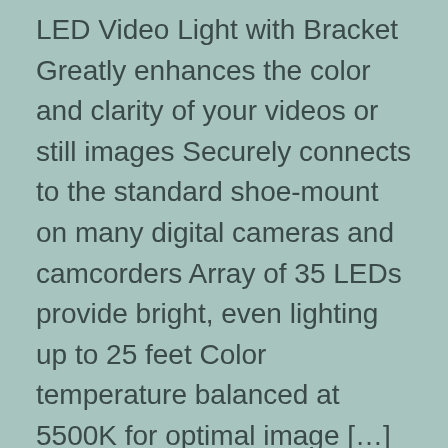LED Video Light with Bracket Greatly enhances the color and clarity of your videos or still images Securely connects to the standard shoe-mount on many digital cameras and camcorders Array of 35 LEDs provide bright, even lighting up to 25 feet Color temperature balanced at 5500K for optimal image […]
Read More… By sbrs on Sunday, April 24th, 2016 | No Comments
Sereer HDV-301 FHD 1080P Digital Video Camera Camcorder Night Vision 24MP 3 Inch Touch Screen 1080 full HD video camera starts with